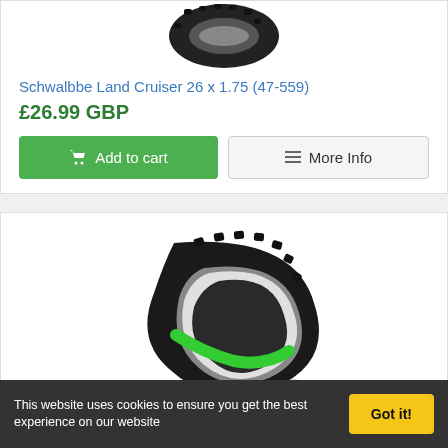[Figure (photo): Black bicycle tyre partially visible at top of page]
Schwalbbe Land Cruiser 26 x 1.75 (47-559)
£26.99 GBP
Add to cart
More Info
[Figure (photo): Schwalbe Smart Sam mountain bike tyre with green sidewall stripe, wired tyre shown on white background]
Schwalbe Smart Sam Wired Tyre 27.5x2.1 (54-584)
£24.99 GBP
This website uses cookies to ensure you get the best experience on our website
Got it!